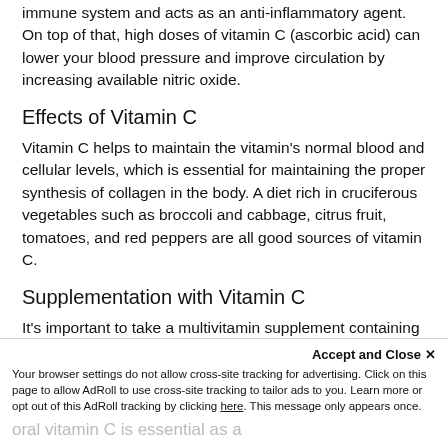immune system and acts as an anti-inflammatory agent. On top of that, high doses of vitamin C (ascorbic acid) can lower your blood pressure and improve circulation by increasing available nitric oxide.
Effects of Vitamin C
Vitamin C helps to maintain the vitamin's normal blood and cellular levels, which is essential for maintaining the proper synthesis of collagen in the body. A diet rich in cruciferous vegetables such as broccoli and cabbage, citrus fruit, tomatoes, and red peppers are all good sources of vitamin C.
Supplementation with Vitamin C
It's important to take a multivitamin supplement containing antioxidants daily because there may be times when we don't get enough of these nutrients through our diet alone.
What are the forms of Vitamin C?
Your browser settings do not allow cross-site tracking for advertising. Click on this page to allow AdRoll to use cross-site tracking to tailor ads to you. Learn more or opt out of this AdRoll tracking by clicking here. This message only appears once.
oral vitamin C is essential as a